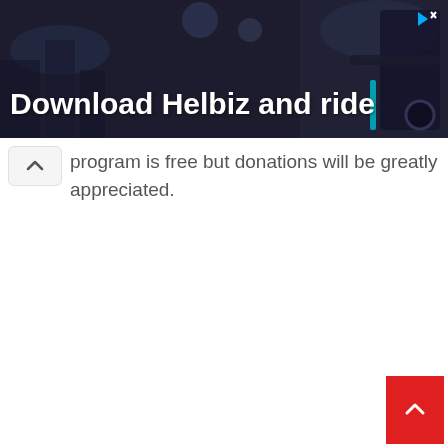[Figure (screenshot): Advertisement banner for Helbiz app showing a person riding a scooter in a city, with bold white text 'Download Helbiz and ride' and an ad close icon in the top right.]
program is free but donations will be greatly appreciated.